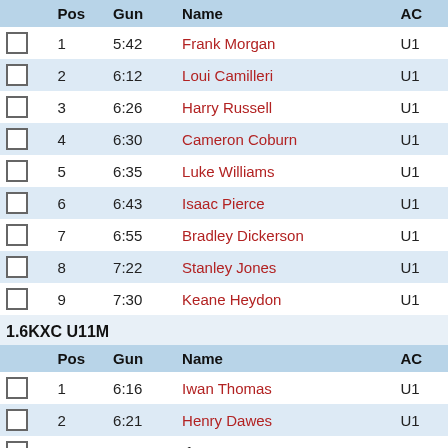|  | Pos | Gun | Name | AC |
| --- | --- | --- | --- | --- |
|  | 1 | 5:42 | Frank Morgan | U1 |
|  | 2 | 6:12 | Loui Camilleri | U1 |
|  | 3 | 6:26 | Harry Russell | U1 |
|  | 4 | 6:30 | Cameron Coburn | U1 |
|  | 5 | 6:35 | Luke Williams | U1 |
|  | 6 | 6:43 | Isaac Pierce | U1 |
|  | 7 | 6:55 | Bradley Dickerson | U1 |
|  | 8 | 7:22 | Stanley Jones | U1 |
|  | 9 | 7:30 | Keane Heydon | U1 |
1.6KXC U11M
|  | Pos | Gun | Name | AC |
| --- | --- | --- | --- | --- |
|  | 1 | 6:16 | Iwan Thomas | U1 |
|  | 2 | 6:21 | Henry Dawes | U1 |
|  | 3 | 6:29 | Ifan Bowen | U1 |
|  | 4 | 6:31 | Liam Upton-Boorman | U1 |
|  | 5 | 6:32 | Jake Lynock | U1 |
|  | 6 | 6:38 | Caian Steadman | U1 |
|  | 7 | 6:39 | Ethan Hamer | U1 |